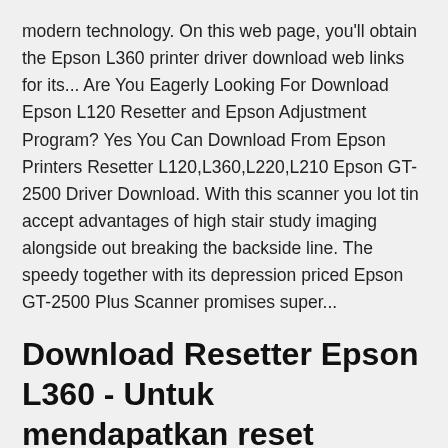modern technology. On this web page, you'll obtain the Epson L360 printer driver download web links for its... Are You Eagerly Looking For Download Epson L120 Resetter and Epson Adjustment Program? Yes You Can Download From Epson Printers Resetter L120,L360,L220,L210 Epson GT-2500 Driver Download. With this scanner you lot tin accept advantages of high stair study imaging alongside out breaking the backside line. The speedy together with its depression priced Epson GT-2500 Plus Scanner promises super...
Download Resetter Epson L360 - Untuk mendapatkan reset adjustmen program gratis kamu bisa mendownloadnya dibawah ini, jangan